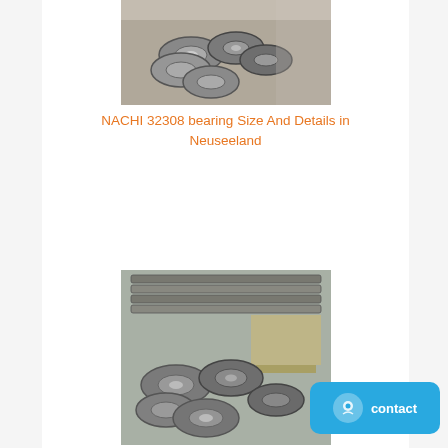[Figure (photo): Photo of multiple NACHI 32308 bearings stacked and arranged on a surface]
NACHI 32308 bearing Size And Details in Neuseeland
[Figure (photo): Photo of multiple NACHI NP405 bearings, including flat flange bearings and round bearings stacked in a warehouse]
NACHI NP405 bearing Size And Details